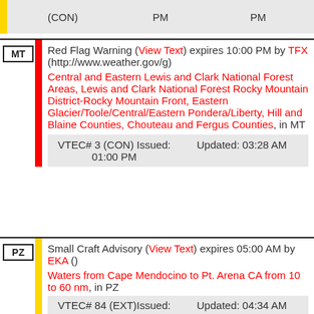|  | (CON) | PM | PM |
| --- | --- | --- | --- |
|  | (CON) | PM | PM |
MT Red Flag Warning (View Text) expires 10:00 PM by TFX (http://www.weather.gov/g) Central and Eastern Lewis and Clark National Forest Areas, Lewis and Clark National Forest Rocky Mountain District-Rocky Mountain Front, Eastern Glacier/Toole/Central/Eastern Pondera/Liberty, Hill and Blaine Counties, Chouteau and Fergus Counties, in MT VTEC# 3 (CON) Issued: 01:00 PM Updated: 03:28 AM
PZ Small Craft Advisory (View Text) expires 05:00 AM by EKA () Waters from Cape Mendocino to Pt. Arena CA from 10 to 60 nm, in PZ VTEC# 84 (EXT) Issued: 11:00 AM Updated: 04:34 AM